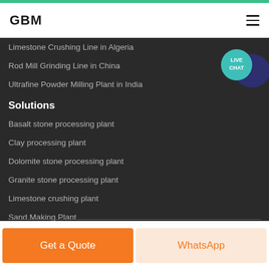GBM
Limestone Crushing Line in Algeria
Rod Mill Grinding Line in China
Ultrafine Powder Milling Plant in India
Solutions
Basalt stone processing plant
Clay processing plant
Dolomite stone processing plant
Granite stone processing plant
Limestone crushing plant
Sand Making Plant